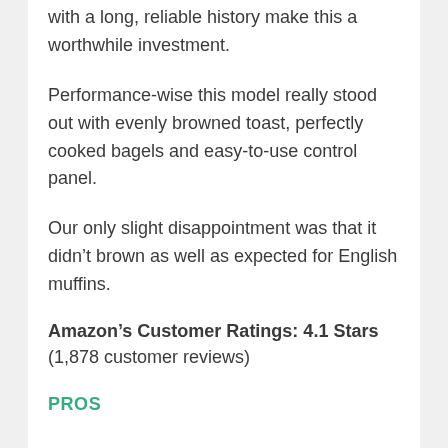with a long, reliable history make this a worthwhile investment.
Performance-wise this model really stood out with evenly browned toast, perfectly cooked bagels and easy-to-use control panel.
Our only slight disappointment was that it didn’t brown as well as expected for English muffins.
Amazon’s Customer Ratings: 4.1 Stars
(1,878 customer reviews)
PROS